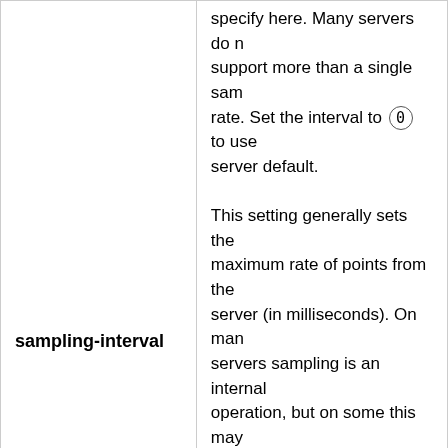| Parameter | Description |
| --- | --- |
| sampling-interval | specify here. Many servers do not support more than a single sampling rate. Set the interval to 0 to use server default.

This setting generally sets the maximum rate of points from the server (in milliseconds). On many servers sampling is an internal operation, but on some this may access external systems, and setting this very low can increase the load on the server significally. It typically sets the density of the points from the server, but not always. |
|  | Specifies the length of internal s... |